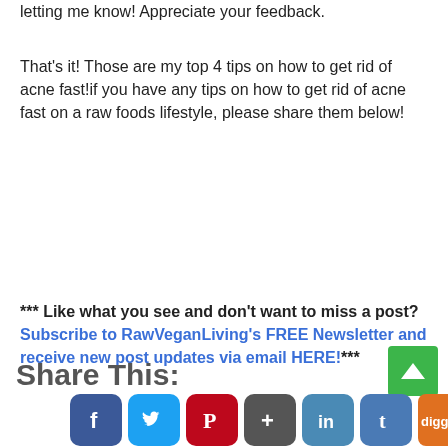letting me know! Appreciate your feedback.
That's it! Those are my top 4 tips on how to get rid of acne fast!if you have any tips on how to get rid of acne fast on a raw foods lifestyle, please share them below!
*** Like what you see and don't want to miss a post? Subscribe to RawVeganLiving's FREE Newsletter and receive new post updates via email HERE!***
Share This:
[Figure (other): Row of social media sharing icons: Facebook, Twitter, Pinterest, Google+, LinkedIn, Tumblr, Digg, StumbleUpon, and more]